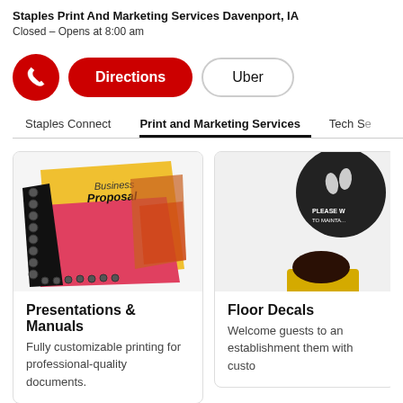Staples Print And Marketing Services Davenport, IA
Closed – Opens at 8:00 am
[Figure (screenshot): Red phone button, red Directions pill button, white Uber pill button]
Staples Connect | Print and Marketing Services | Tech S…
[Figure (photo): Spiral-bound business proposal booklets with yellow and pink covers]
Presentations & Manuals
Fully customizable printing for professional-quality documents.
[Figure (photo): Partial view of floor decal with person standing near it]
Floor Decals
Welcome guests to an establishment them with custo…